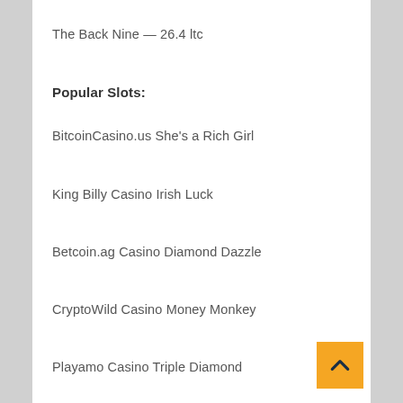The Back Nine — 26.4 ltc
Popular Slots:
BitcoinCasino.us She's a Rich Girl
King Billy Casino Irish Luck
Betcoin.ag Casino Diamond Dazzle
CryptoWild Casino Money Monkey
Playamo Casino Triple Diamond